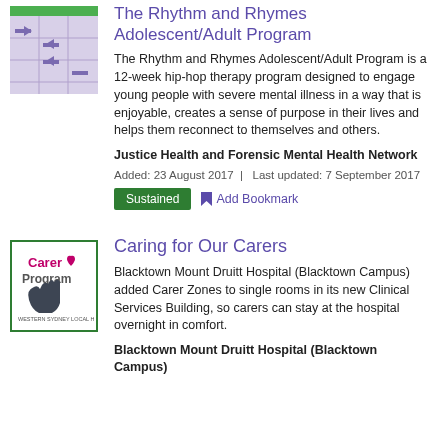[Figure (logo): Rhythm and Rhymes program logo: purple/lavender grid icon with arrows on a green bar at top]
The Rhythm and Rhymes Adolescent/Adult Program
The Rhythm and Rhymes Adolescent/Adult Program is a 12-week hip-hop therapy program designed to engage young people with severe mental illness in a way that is enjoyable, creates a sense of purpose in their lives and helps them reconnect to themselves and others.
Justice Health and Forensic Mental Health Network
Added: 23 August 2017  |  Last updated: 7 September 2017
Sustained   Add Bookmark
[Figure (logo): Carer Program logo: pink heart with text 'Carer Program' and a dark grey hand graphic, with green border, Western Sydney Local Health District]
Caring for Our Carers
Blacktown Mount Druitt Hospital (Blacktown Campus) added Carer Zones to single rooms in its new Clinical Services Building, so carers can stay at the hospital overnight in comfort.
Blacktown Mount Druitt Hospital (Blacktown Campus)